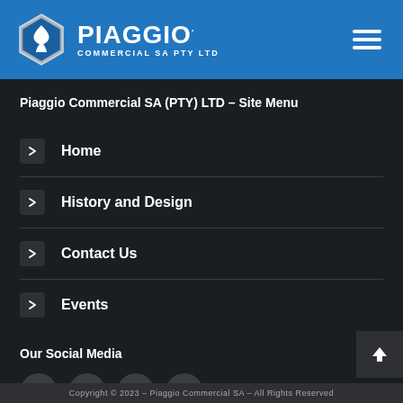[Figure (logo): Piaggio Commercial SA PTY LTD logo with hexagonal emblem on blue header bar with hamburger menu icon]
Piaggio Commercial SA (PTY) LTD – Site Menu
Home
History and Design
Contact Us
Events
Our Social Media
[Figure (infographic): Social media icons: Facebook, YouTube, Pinterest, Instagram]
Copyright © 2023 – Piaggio Commercial SA – All Rights Reserved